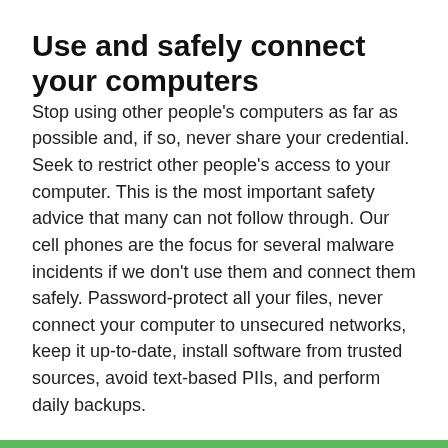Use and safely connect your computers
Stop using other people's computers as far as possible and, if so, never share your credential. Seek to restrict other people's access to your computer. This is the most important safety advice that many can not follow through. Our cell phones are the focus for several malware incidents if we don't use them and connect them safely. Password-protect all your files, never connect your computer to unsecured networks, keep it up-to-date, install software from trusted sources, avoid text-based PIIs, and perform daily backups.